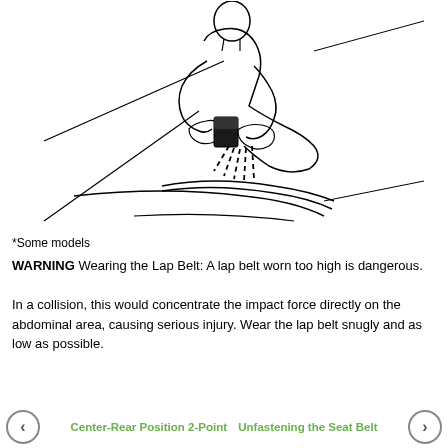[Figure (illustration): Line drawing of a person seated, adjusting/pulling a lap seat belt with both hands. The belt runs diagonally across the lap. A diagonal line (seatbelt guide) is visible in the background.]
*Some models
WARNING Wearing the Lap Belt: A lap belt worn too high is dangerous.
In a collision, this would concentrate the impact force directly on the abdominal area, causing serious injury. Wear the lap belt snugly and as low as possible.
Center-Rear Position 2-Point  Unfastening the Seat Belt